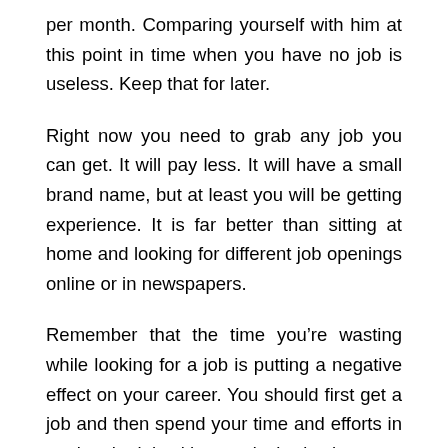per month. Comparing yourself with him at this point in time when you have no job is useless. Keep that for later.
Right now you need to grab any job you can get. It will pay less. It will have a small brand name, but at least you will be getting experience. It is far better than sitting at home and looking for different job openings online or in newspapers.
Remember that the time you’re wasting while looking for a job is putting a negative effect on your career. You should first get a job and then spend your time and efforts in getting the job with your desired salary.
I agree that private companies pay very less when it comes to off-campus placement. But you need to start somewhere. Once you start, you can always upgrade. Consider your low-salary job as an opportunity to learn more. You paid for the